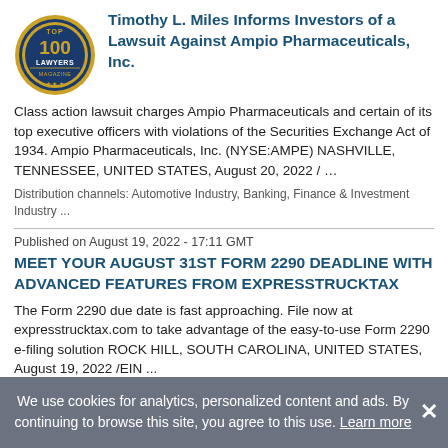[Figure (logo): Top 100 Lawyers magazine badge/seal — circular gold and blue emblem]
Timothy L. Miles Informs Investors of a Lawsuit Against Ampio Pharmaceuticals, Inc.
Class action lawsuit charges Ampio Pharmaceuticals and certain of its top executive officers with violations of the Securities Exchange Act of 1934. Ampio Pharmaceuticals, Inc. (NYSE:AMPE) NASHVILLE, TENNESSEE, UNITED STATES, August 20, 2022 / …
Distribution channels: Automotive Industry, Banking, Finance & Investment Industry ...
Published on August 19, 2022 - 17:11 GMT
MEET YOUR AUGUST 31ST FORM 2290 DEADLINE WITH ADVANCED FEATURES FROM EXPRESSTRUCKTAX
The Form 2290 due date is fast approaching. File now at expresstrucktax.com to take advantage of the easy-to-use Form 2290 e-filing solution ROCK HILL, SOUTH CAROLINA, UNITED STATES, August 19, 2022 /EIN ...
We use cookies for analytics, personalized content and ads. By continuing to browse this site, you agree to this use. Learn more